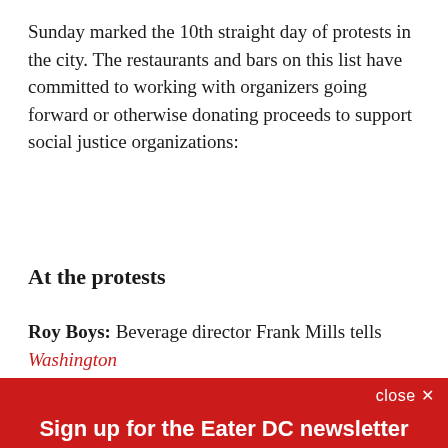Sunday marked the 10th straight day of protests in the city. The restaurants and bars on this list have committed to working with organizers going forward or otherwise donating proceeds to support social justice organizations:
At the protests
Roy Boys: Beverage director Frank Mills tells Washington
close ×
Sign up for the Eater DC newsletter
The freshest news from the local food world
Email (required)
SUBSCRIBE
By submitting your email, you agree to our Terms and Privacy Notice. You can opt out at any time. This site is protected by reCAPTCHA and the Google Privacy Policy and Terms of Service apply.